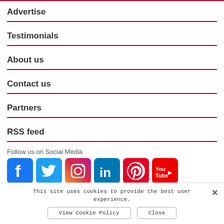Advertise
Testimonials
About us
Contact us
Partners
RSS feed
Follow us on Social Media
[Figure (other): Social media icons: Facebook, Twitter, Instagram, LinkedIn, Pinterest, YouTube]
This site uses cookies to provide the best user experience.
View Cookie Policy
Close